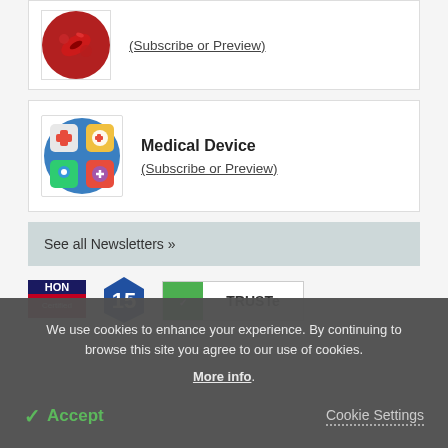[Figure (illustration): Blood/bacteria circular icon in red and dark tones]
(Subscribe or Preview)
[Figure (illustration): Medical device circular icon with various medical tool icons on colorful background]
Medical Device
(Subscribe or Preview)
See all Newsletters »
[Figure (logo): HON (Health On the Net) red/dark badge logo]
[Figure (logo): Blue shield badge with number 15]
[Figure (logo): TRUSTe certification badge with green and white]
We use cookies to enhance your experience. By continuing to browse this site you agree to our use of cookies. More info.
✓ Accept
Cookie Settings